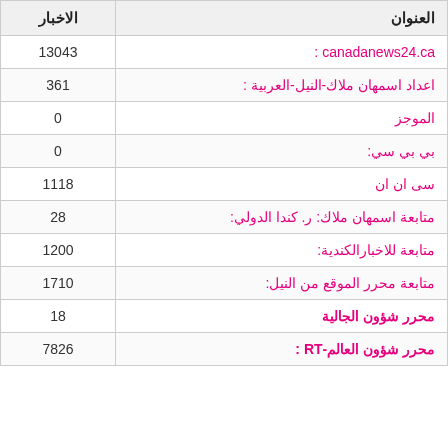| العنوان | الاخبار |
| --- | --- |
| canadanews24.ca : | 13043 |
| اعداد اسمهان ملاك-النيل-العربية : | 361 |
| الموجز | 0 |
| بي بي سي: | 0 |
| سى ان ان | 1118 |
| متابعة اسمهان ملاك: ر. كندا الدولي: | 28 |
| متابعة للاخبارالكندية: | 1200 |
| متابعة محرر الموقع من النيل: | 1710 |
| محرر شؤون الجالية | 18 |
| محرر شؤون العالم-RT : | 7826 |